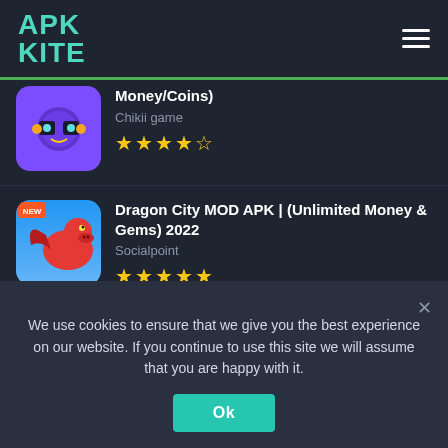APK KITE (logo with hamburger menu)
Money/Coins) - Chikii game - 4.5 stars
Dragon City MOD APK | (Unlimited Money & Gems) 2022 - Socialpoint - 4.5 stars
Netboom Mod Apk Download (Unlimited Time And Gold) 2022 - Best Cloud Gaming Platform - Netboom Ltd. - 4.5 stars
We use cookies to ensure that we give you the best experience on our website. If you continue to use this site we will assume that you are happy with it.